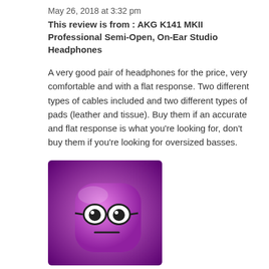May 26, 2018 at 3:32 pm
This review is from : AKG K141 MKII Professional Semi-Open, On-Ear Studio Headphones
A very good pair of headphones for the price, very comfortable and with a flat response. Two different types of cables included and two different types of pads (leather and tissue). Buy them if an accurate and flat response is what you’re looking for, don't buy them if you're looking for oversized basses.
[Figure (illustration): Purple/pink cartoon avatar of a blob-like character with glasses and a neutral expression, on a gradient purple background]
Style: Over-Ear
May 28, 2018 at 3:35 pm
A very good pair of headphones for the price, very comfortable and with a flat response. Two different types of cables included and two different types of pads (leather and tissue). Buy them if an accurate and flat response is what you’re looking for, don't buy them if you're looking for